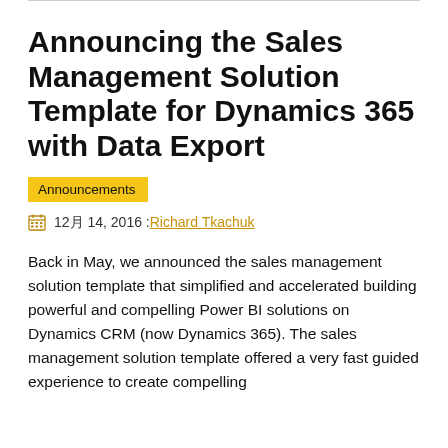Announcing the Sales Management Solution Template for Dynamics 365 with Data Export
Announcements
12月 14, 2016 :Richard Tkachuk
Back in May, we announced the sales management solution template that simplified and accelerated building powerful and compelling Power BI solutions on Dynamics CRM (now Dynamics 365). The sales management solution template offered a very fast guided experience to create compelling reports on your Dynamics 365 data architecture.